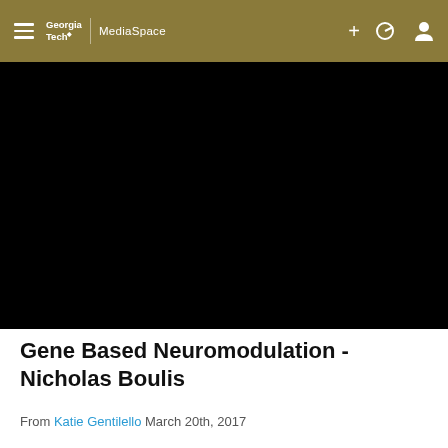Georgia Tech MediaSpace — navigation bar with hamburger menu, logo, plus icon, accessibility icon, user icon
[Figure (screenshot): Black video player area showing a paused or loading video with no visible content]
Gene Based Neuromodulation - Nicholas Boulis
From Katie Gentilello March 20th, 2017